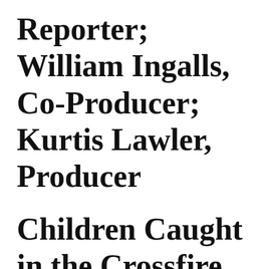Reporter; William Ingalls, Co-Producer; Kurtis Lawler, Producer
Children Caught in the Crossfire
WGN